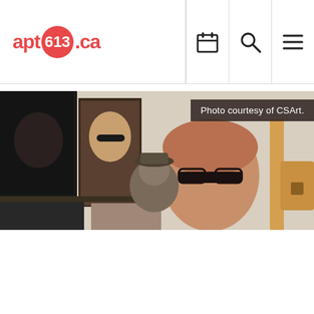apt613.ca
[Figure (photo): A man with glasses peeking over a surface in a photography studio or gallery, with portrait photographs displayed on shelves in the background]
Photo courtesy of CSArt.